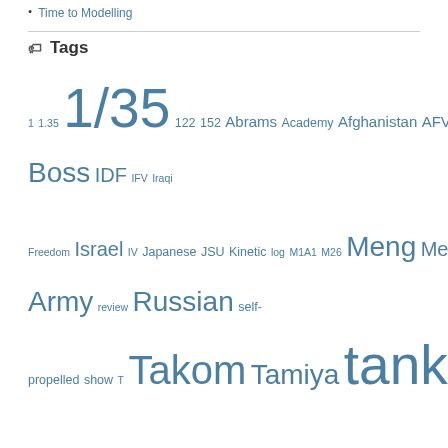Time to Modelling
Tags
1 1.35 1/35 122 152 Abrams Academy Afghanistan AFV AIM amx armor Armored armour artillery befehls BMP British build Canadian Car chipping construction desert destroyer Dragon French G German hairspray HeritageCon Hobby Boss IDF IFV Iraqi Freedom Israel IV Japanese JSU Kinetic log M1A1 M26 Meng Merkava model modern movie new Operation painting Panzer Pershing photo photos plastic Red Army review Russian self-propelled show T Takom Tamiya tank tractor Trumpeter video Voroshilovets War wash weathering Wehrmacht WWI WWII